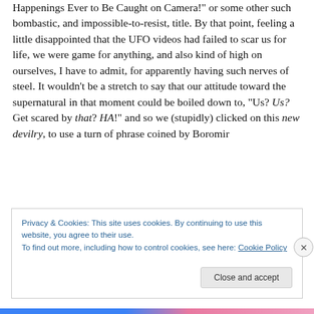it was called, "Top 10 Most Shocking and Unexplainable Happenings Ever to Be Caught on Camera!" or some other such bombastic, and impossible-to-resist, title. By that point, feeling a little disappointed that the UFO videos had failed to scar us for life, we were game for anything, and also kind of high on ourselves, I have to admit, for apparently having such nerves of steel. It wouldn't be a stretch to say that our attitude toward the supernatural in that moment could be boiled down to, “Us? Us? Get scared by that? HA!” and so we (stupidly) clicked on this new devilry, to use a turn of phrase coined by Boromir
Privacy & Cookies: This site uses cookies. By continuing to use this website, you agree to their use.
To find out more, including how to control cookies, see here: Cookie Policy